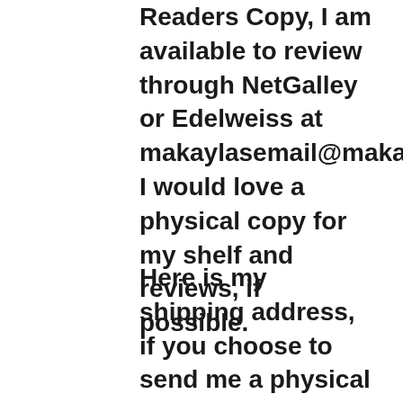Readers Copy, I am available to review through NetGalley or Edelweiss at makaylasemail@makayla. I would love a physical copy for my shelf and reviews, if possible.
Here is my shipping address, if you choose to send me a physical ARC: